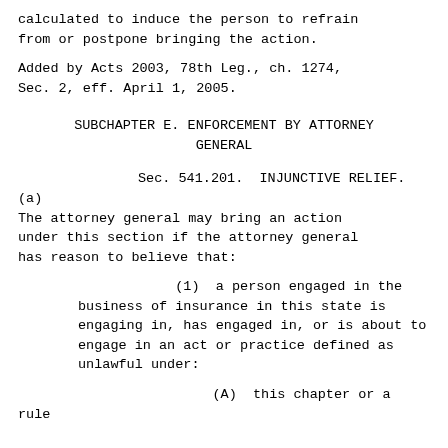calculated to induce the person to refrain from or postpone bringing the action.
Added by Acts 2003, 78th Leg., ch. 1274, Sec. 2, eff. April 1, 2005.
SUBCHAPTER E. ENFORCEMENT BY ATTORNEY GENERAL
Sec. 541.201. INJUNCTIVE RELIEF. (a) The attorney general may bring an action under this section if the attorney general has reason to believe that:
(1)  a person engaged in the business of insurance in this state is engaging in, has engaged in, or is about to engage in an act or practice defined as unlawful under:
(A)  this chapter or a rule